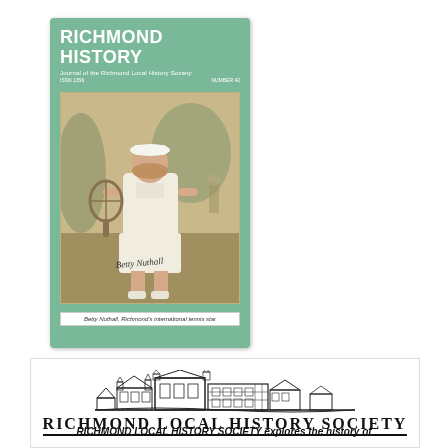[Figure (illustration): Cover of 'Richmond History: Journal of the Richmond Local History Society' magazine. Green background with white bold title text, subtitle text, and a sepia-toned photograph of a woman holding a tennis racket (Betty Nuthall). Caption reads 'Betty Nuthall, Richmond's international tennis star'.]
[Figure (logo): Richmond Local History Society logo: detailed line-art illustration of a grand historic building/castle skyline above the text 'RICHMOND LOCAL HISTORY SOCIETY' in large serif bold letters with underline.]
RICHMOND LOCAL HISTORY SOCIETY explores the history of